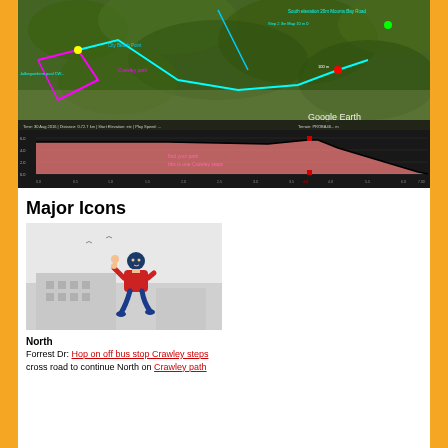[Figure (map): Aerial/satellite map view with cyan and magenta route lines, annotations including 'Crawley path', 'South elevation 20m Mounts Bay Road', 'Google Earth' watermark, and various location markers]
[Figure (area-chart): Elevation profile chart on dark background showing a mostly flat then descending line with pink/salmon shaded area below. Text annotations in pink: 'find your path' and 'this is one Crawley steps'. A red marker is visible. X-axis has distance labels, Y-axis has elevation values.]
Major Icons
[Figure (illustration): Illustration of a cartoon person in a red jacket with blue pants walking/running on a light grey background with a building silhouette. The figure appears to be a pedestrian walking icon.]
North
Forrest Dr: Hop on off bus stop Crawley steps cross road to continue North on Crawley path